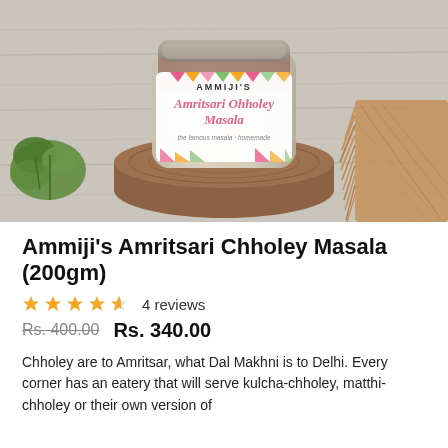[Figure (photo): A glass jar of Ammiji's Amritsari Chholey Masala with a colorful geometric patterned label, placed on a wooden slab. Green cilantro on left, jute mat on right, white wooden background.]
Ammiji's Amritsari Chholey Masala (200gm)
★★★★☆ 4 reviews
Rs. 400.00  Rs. 340.00
Chholey are to Amritsar, what Dal Makhni is to Delhi. Every corner has an eatery that will serve kulcha-chholey, matthi-chholey or their own version of